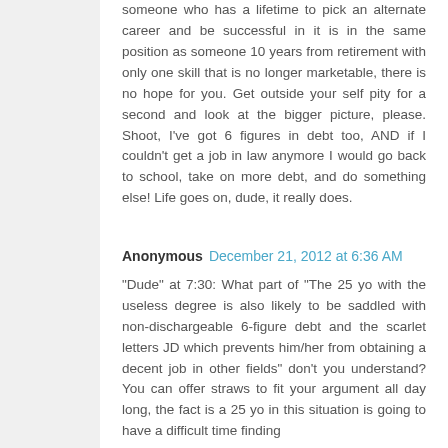someone who has a lifetime to pick an alternate career and be successful in it is in the same position as someone 10 years from retirement with only one skill that is no longer marketable, there is no hope for you. Get outside your self pity for a second and look at the bigger picture, please. Shoot, I've got 6 figures in debt too, AND if I couldn't get a job in law anymore I would go back to school, take on more debt, and do something else! Life goes on, dude, it really does.
Anonymous  December 21, 2012 at 6:36 AM
"Dude" at 7:30: What part of "The 25 yo with the useless degree is also likely to be saddled with non-dischargeable 6-figure debt and the scarlet letters JD which prevents him/her from obtaining a decent job in other fields" don't you understand? You can offer straws to fit your argument all day long, the fact is a 25 yo in this situation is going to have a difficult time finding